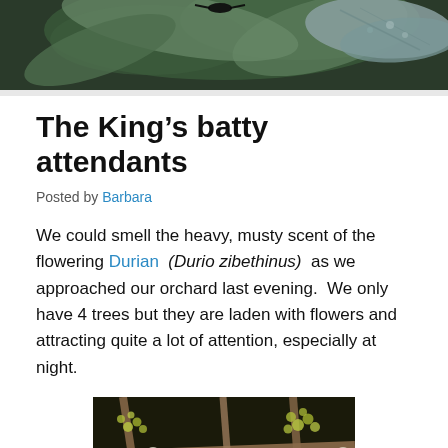[Figure (photo): Close-up photo of durian tree branches with white fluffy flowers and yellow-green buds/fruitlets against a dark background]
The King’s batty attendants
Posted by Barbara
We could smell the heavy, musty scent of the flowering Durian (Durio zibethinus) as we approached our orchard last evening.  We only have 4 trees but they are laden with flowers and attracting quite a lot of attention, especially at night.
[Figure (photo): Night photograph of durian tree branches with clusters of white fluffy flowers and small green fruitlets]